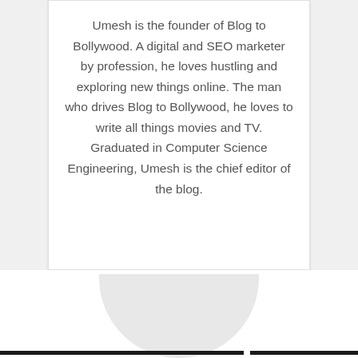Umesh is the founder of Blog to Bollywood. A digital and SEO marketer by profession, he loves hustling and exploring new things online. The man who drives Blog to Bollywood, he loves to write all things movies and TV. Graduated in Computer Science Engineering, Umesh is the chief editor of the blog.
[Figure (illustration): A generic avatar/person silhouette icon shown partially at the bottom of the page, circular gray shape representing a profile picture placeholder.]